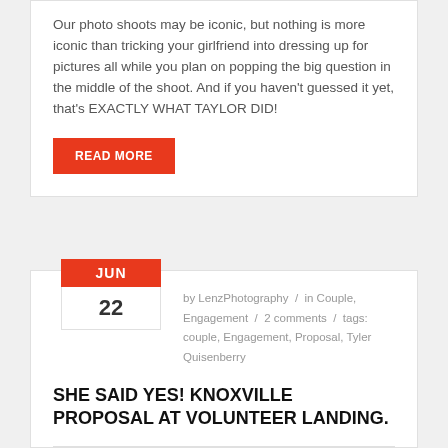Our photo shoots may be iconic, but nothing is more iconic than tricking your girlfriend into dressing up for pictures all while you plan on popping the big question in the middle of the shoot. And if you haven't guessed it yet, that's EXACTLY WHAT TAYLOR DID!
READ MORE
by LenzPhotography / in Couple, Engagement / 2 comments / tags: couple, Engagement, Proposal, Tyler Quisenberry
SHE SAID YES! KNOXVILLE PROPOSAL AT VOLUNTEER LANDING.